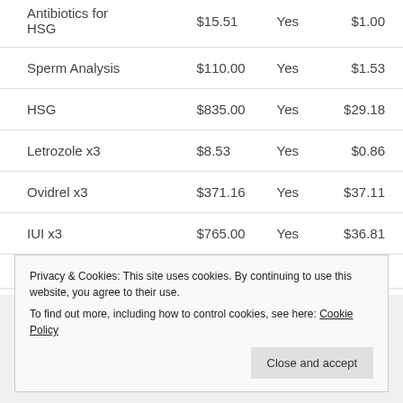| Item | Price | Covered | Cost |
| --- | --- | --- | --- |
| Antibiotics for HSG | $15.51 | Yes | $1.00 |
| Sperm Analysis | $110.00 | Yes | $1.53 |
| HSG | $835.00 | Yes | $29.18 |
| Letrozole x3 | $8.53 | Yes | $0.86 |
| Ovidrel x3 | $371.16 | Yes | $37.11 |
| IUI x3 | $765.00 | Yes | $36.81 |
| Sperm Wash x3 | $320.00 | Yes | $16.80 |
Privacy & Cookies: This site uses cookies. By continuing to use this website, you agree to their use.
To find out more, including how to control cookies, see here: Cookie Policy